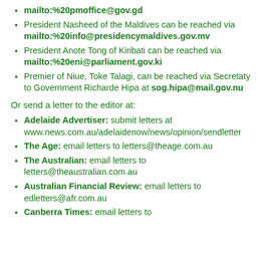mailto:%20pmoffice@gov.gd
President Nasheed of the Maldives can be reached via mailto:%20info@presidencymaldives.gov.mv
President Anote Tong of Kiribati can be reached via mailto:%20eni@parliament.gov.ki
Premier of Niue, Toke Talagi, can be reached via Secretaty to Government Richarde Hipa at sog.hipa@mail.gov.nu
Or send a letter to the editor at:
Adelaide Advertiser: submit letters at www.news.com.au/adelaidenow/news/opinion/sendletter
The Age: email letters to letters@theage.com.au
The Australian: email letters to letters@theaustralian.com.au
Australian Financial Review: email letters to edletters@afr.com.au
Canberra Times: email letters to